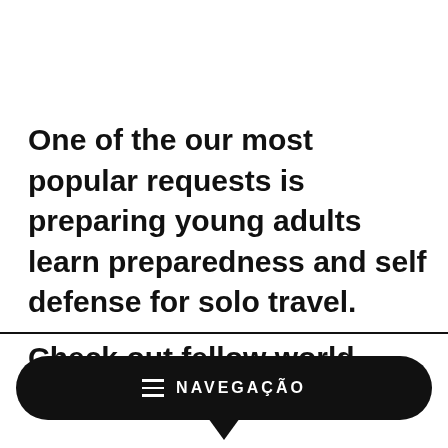One of the our most popular requests is preparing young adults learn preparedness and self defense for solo travel.
Check out fellow world traveler,
≡  NAVEGAÇÃO